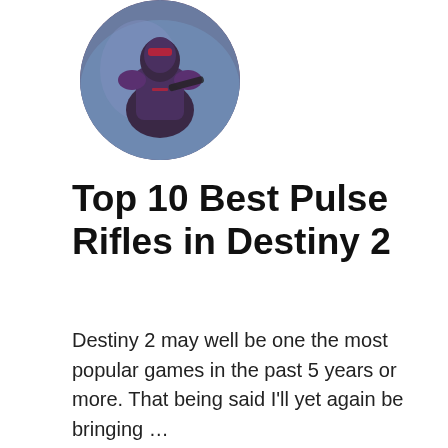[Figure (photo): Circular cropped photo of a video game character (Destiny 2) with dark purple/red armor against a blue background]
Top 10 Best Pulse Rifles in Destiny 2
Destiny 2 may well be one the most popular games in the past 5 years or more. That being said I'll yet again be bringing …
Read More
[Figure (other): Share button icon (circular white button with share symbol)]
[Figure (other): WHAT'S NEXT promo with thumbnail: 10 Most Powerful...]
[Figure (other): Advertisement banner: #AloneTogether with photo of family and reCAPTCHA logo]